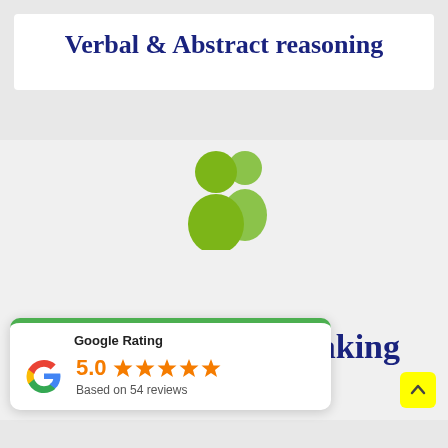Verbal & Abstract reasoning
[Figure (illustration): Green group/people icon showing two user silhouettes in lime green]
aking
[Figure (infographic): Google Rating widget showing 5.0 stars based on 54 reviews with Google G logo and green top border]